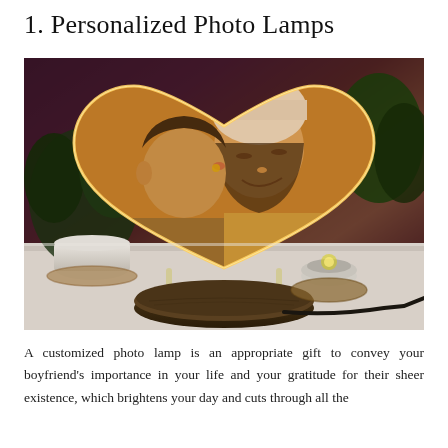1. Personalized Photo Lamps
[Figure (photo): A heart-shaped personalized photo lamp displaying a couple — a man kissing a woman's cheek, both smiling. The lamp glows with warm golden light, set on a dark oval wooden base with a power cord. Background shows houseplants and a white ceramic pot on a wooden surface.]
A customized photo lamp is an appropriate gift to convey your boyfriend's importance in your life and your gratitude for their sheer existence, which brightens your day and cuts through all the